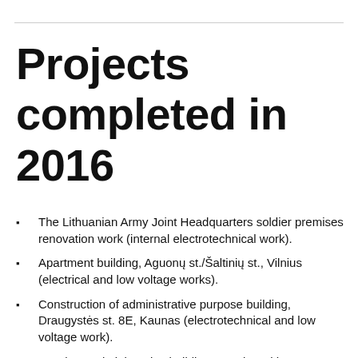Projects completed in 2016
The Lithuanian Army Joint Headquarters soldier premises renovation work (internal electrotechnical work).
Apartment building, Aguonų st./Šaltinių st., Vilnius (electrical and low voltage works).
Construction of administrative purpose building, Draugystės st. 8E, Kaunas (electrotechnical and low voltage work).
Quadrum administrative building complex with